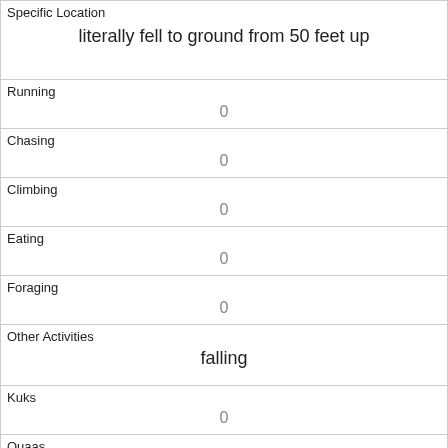| Specific Location | literally fell to ground from 50 feet up |
| Running | 0 |
| Chasing | 0 |
| Climbing | 0 |
| Eating | 0 |
| Foraging | 0 |
| Other Activities | falling |
| Kuks | 0 |
| Quaas | 0 |
| Moans | 0 |
| Tail flags |  |